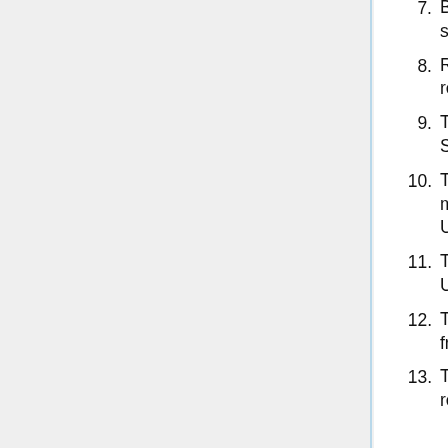7. Backend ATS requests URL from media storage cluster.
8. Request for URL from media storage cluster received by an LVS server.
9. The LVS server picks an arbitrary frontend Swift server to handle the request.
10. The frontend Swift server rewrites the URL to map from the wiki URL space into the storage URL space.
11. The frontend Swift server requests the new URL from the Swift cluster.
12. The 404 response for the URL is caught in the frontend Swift server.
13. The frontend Swift server constructs a URL to request the